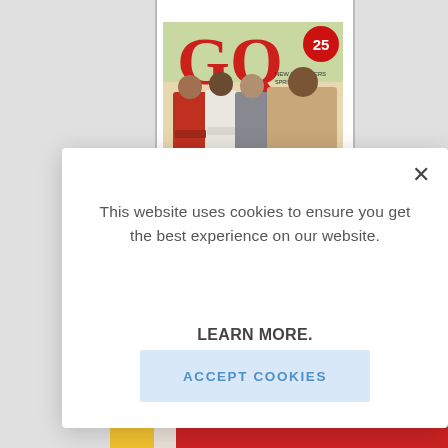[Figure (screenshot): GQ magazine cover showing four men in suits, with red GQ logo and '25' badge in top right]
This website uses cookies to ensure you get the best experience on our website.
LEARN MORE.
ACCEPT COOKIES